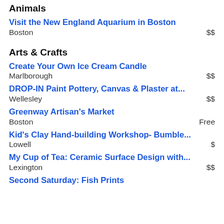Animals
Visit the New England Aquarium in Boston | Boston | $$
Arts & Crafts
Create Your Own Ice Cream Candle | Marlborough | $$
DROP-IN Paint Pottery, Canvas & Plaster at... | Wellesley | $$
Greenway Artisan's Market | Boston | Free
Kid's Clay Hand-building Workshop- Bumble... | Lowell | $
My Cup of Tea: Ceramic Surface Design with... | Lexington | $$
Second Saturday: Fish Prints